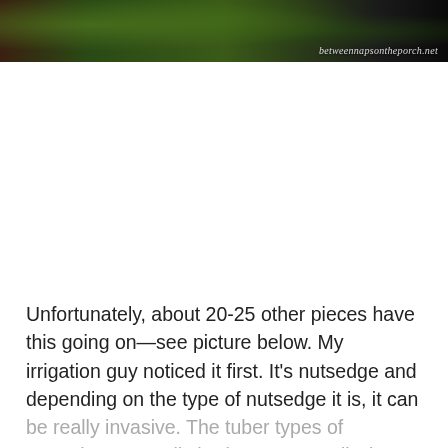[Figure (photo): Garden bed with green plants/shrubs and mulch, partially visible dark roof or car in upper right. Watermark text 'betweennapsontheporch.net' in lower right of image.]
Unfortunately, about 20-25 other pieces have this going on—see picture below. My irrigation guy noticed it first. It's nutsedge and depending on the type of nutsedge it is, it can be really invasive. The tuber types of nutsedge are really bad. You can't tell what type it is at this stage. When i more strong into and from if the and this the ...